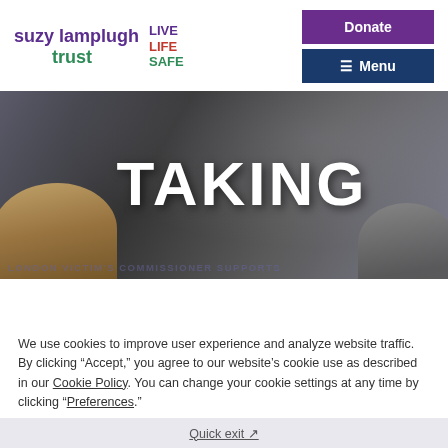suzy lamplugh trust LIVE LIFE SAFE | Donate | Menu
[Figure (photo): Hero image showing people in front of a large sign reading TAKING, with a dark rainy-window background. Two people's heads visible at the bottom corners.]
We use cookies to improve user experience and analyze website traffic. By clicking “Accept,” you agree to our website’s cookie use as described in our Cookie Policy. You can change your cookie settings at any time by clicking “Preferences.”
Accept
Quick exit ↗